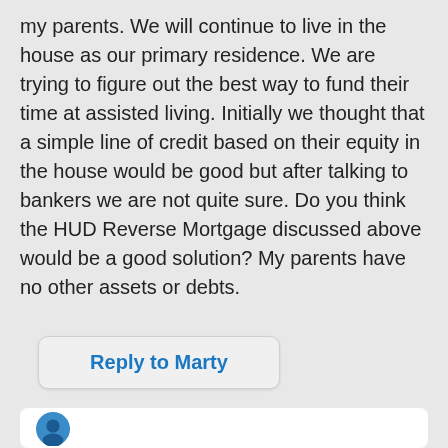my parents. We will continue to live in the house as our primary residence. We are trying to figure out the best way to fund their time at assisted living. Initially we thought that a simple line of credit based on their equity in the house would be good but after talking to bankers we are not quite sure. Do you think the HUD Reverse Mortgage discussed above would be a good solution? My parents have no other assets or debts.
Reply to Marty